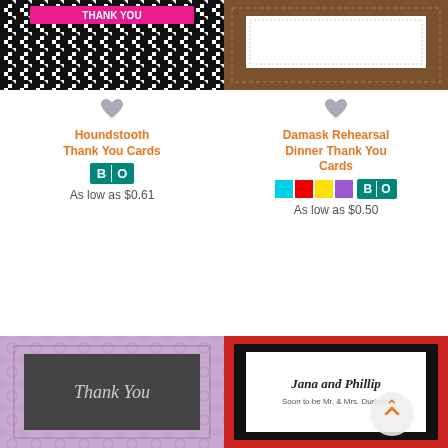[Figure (photo): Houndstooth pattern card with pink/magenta label at top]
[Figure (photo): Brown leather-look frame card with white center]
Houndstooth Thank You Cards
As low as $0.61
Damask Rehearsal Dinner Thank You Cards
As low as $0.50
[Figure (photo): Purple damask pattern card with dark gray center panel reading Thank You in script]
[Figure (photo): Red-framed card with white center reading Jana and Phillip, Soon to be Mr. & Mrs. Durham]